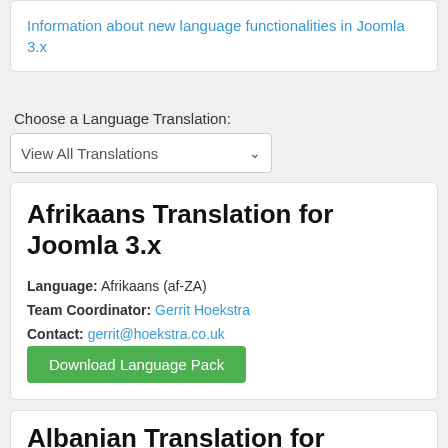Information about new language functionalities in Joomla 3.x
Choose a Language Translation:
View All Translations
Afrikaans Translation for Joomla 3.x
Language: Afrikaans (af-ZA)
Team Coordinator: Gerrit Hoekstra
Contact: gerrit@hoekstra.co.uk
Download Language Pack
Albanian Translation for Joomla